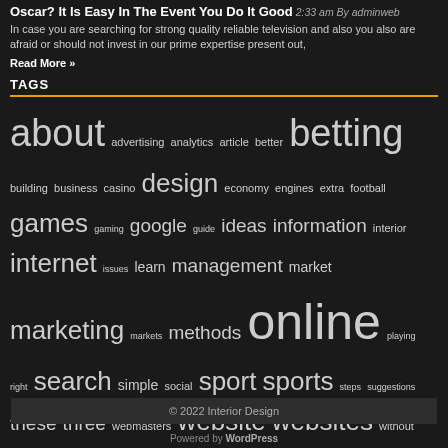Oscar? It Is Easy In The Event You Do It Good
2:33 am By adminweb
In case you are searching for strong quality reliable television and also you also are afraid or should not invest in our prime expertise present out,
Read More »
TAGS
about advertising analytics article better betting building business casino design economy engines extra football games gaming google guide ideas information interior internet issues learn management market marketing markets methods online playing right search simple social sport sports steps suggestions these three webmasters website websites without
© 2022 Interior Design
Powered by WordPress